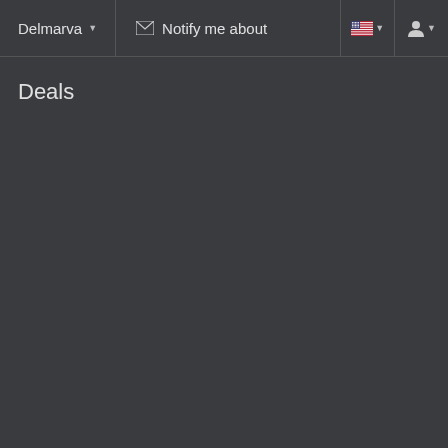Delmarva ▾   ✉ Notify me about   🇺🇸 ▾   👤 ▾
Deals